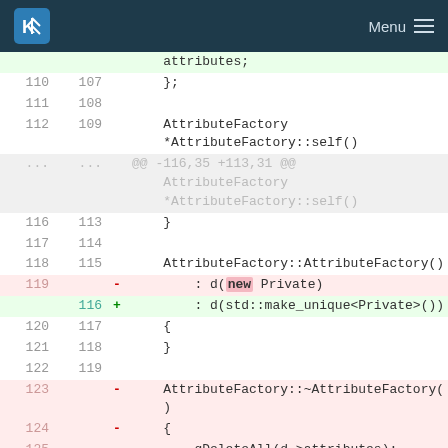KDE Menu
| old ln | new ln | sign | code |
| --- | --- | --- | --- |
|  |  |  | attributes; |
| 110 | 107 |  | }; |
| 111 | 108 |  |  |
| 112 | 109 |  | AttributeFactory
*AttributeFactory::self() |
| ... | ... |  | @@ -116,35 +113,31 @@ AttributeFactory
*AttributeFactory::self() |
| 116 | 113 |  | } |
| 117 | 114 |  |  |
| 118 | 115 |  | AttributeFactory::AttributeFactory() |
| 119 |  | - | : d(new Private) |
|  | 116 | + | : d(std::make_unique<Private>()) |
| 120 | 117 |  | { |
| 121 | 118 |  | } |
| 122 | 119 |  |  |
| 123 |  | - | AttributeFactory::~AttributeFactory(
) |
| 124 |  | - | { |
| 125 |  | - |     qDeleteAll(d->attributes); |